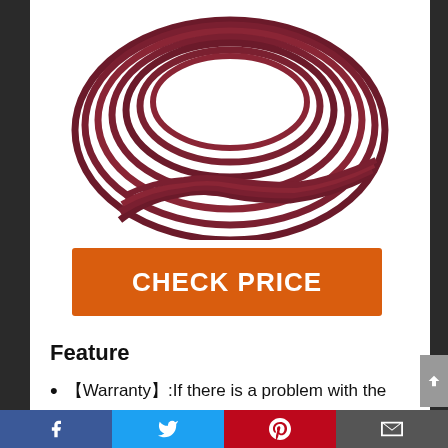[Figure (photo): Dark red/maroon coiled cables or hoses arranged in a circular bundle against a white background]
CHECK PRICE
Feature
【Warranty】:If there is a problem with the product, please contact us in time for a 6 month free replacement and refund service.
【Compatible device】:Compatible